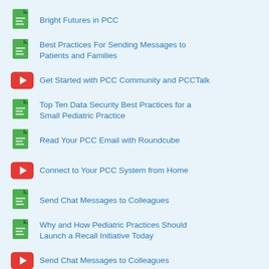Bright Futures in PCC
Best Practices For Sending Messages to Patients and Families
Get Started with PCC Community and PCCTalk
Top Ten Data Security Best Practices for a Small Pediatric Practice
Read Your PCC Email with Roundcube
Connect to Your PCC System from Home
Send Chat Messages to Colleagues
Why and How Pediatric Practices Should Launch a Recall Initiative Today
Send Chat Messages to Colleagues
Run a Pediatric Drive-Up Flu or COVID-19 Shot...